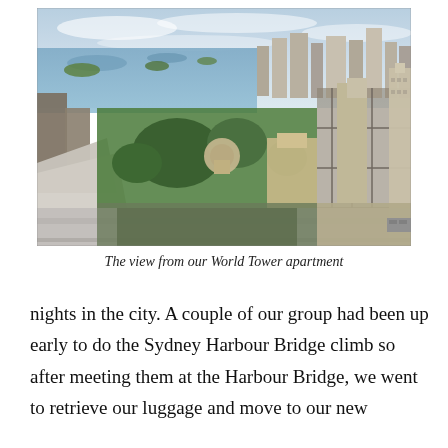[Figure (photo): Aerial cityscape view from World Tower apartment in Sydney, showing Sydney Harbour, surrounding suburbs, parks with trees, and city skyscrapers under a cloudy sky.]
The view from our World Tower apartment
nights in the city. A couple of our group had been up early to do the Sydney Harbour Bridge climb so after meeting them at the Harbour Bridge, we went to retrieve our luggage and move to our new